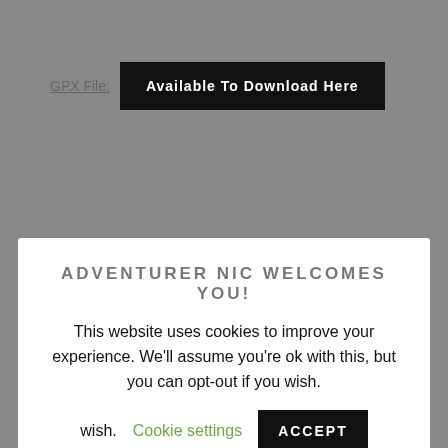GPX File:
Available To Download Here
ADVENTURER NIC WELCOMES YOU!
This website uses cookies to improve your experience. We'll assume you're ok with this, but you can opt-out if you wish.
Cookie settings
ACCEPT
hiking our 30th Munro – Ben Ime – in order to undertake a couple of work commitments back in England. One of the commitments was to speak at the Keswick Mountain Festival, an event I love to go to every year. It's a great opportunity to catch up with friends.
On the morning of 24th May 2019, we left James's home